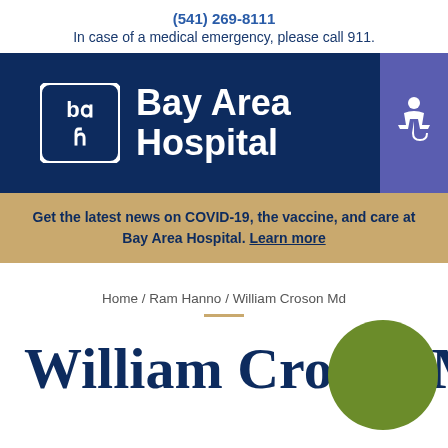(541) 269-8111
In case of a medical emergency, please call 911.
[Figure (logo): Bay Area Hospital logo with stylized 'bah' icon and hospital name in white on dark navy background, plus purple accessibility icon box on right]
Get the latest news on COVID-19, the vaccine, and care at Bay Area Hospital. Learn more
Home / Ram Hanno / William Croson Md
William Croson Md